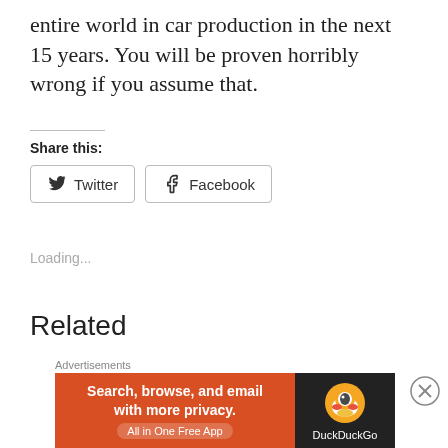entire world in car production in the next 15 years. You will be proven horribly wrong if you assume that.
Share this:
Twitter
Facebook
Loading...
Related
What do the
[Figure (photo): Thumbnail image of a person against a blue-grey background]
Advertisements
[Figure (other): DuckDuckGo advertisement banner: 'Search, browse, and email with more privacy. All in One Free App' with DuckDuckGo duck logo on dark background]